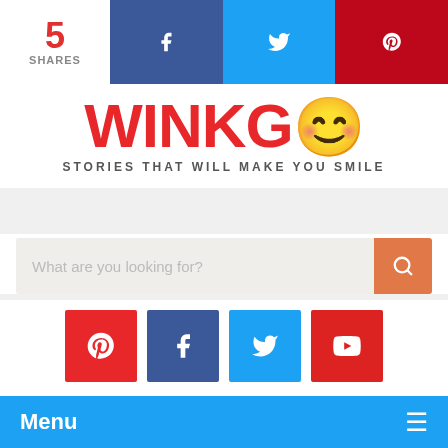5 SHARES | Facebook | Twitter | Pinterest
[Figure (logo): WinkGo logo with smiley face emoji and tagline 'STORIES THAT WILL MAKE YOU SMILE']
[Figure (screenshot): Search bar with placeholder 'What are you looking for?' and orange search button]
[Figure (infographic): Social media icons row: Pinterest (red), Facebook (dark blue), Twitter (light blue), YouTube (red)]
Menu
Arts & Culture
This Man Recently Got Married but